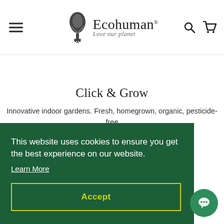Ecohuman - Love our planet
Click & Grow
Innovative indoor gardens. Fresh, homegrown, organic, pesticide-free fruit, herbs, vegetables and flowers all year round!
This website uses cookies to ensure you get the best experience on our website.
Learn More
Accept